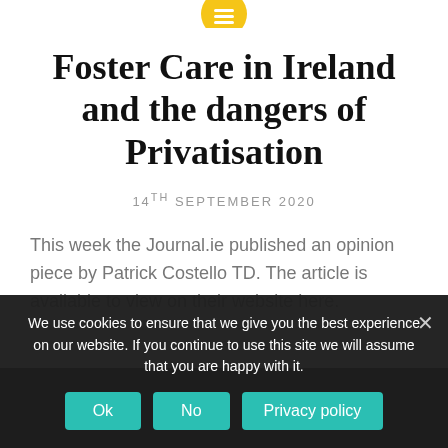[Figure (logo): Yellow circular icon with horizontal lines (hamburger/menu icon) at top center of page]
Foster Care in Ireland and the dangers of Privatisation
14TH SEPTEMBER 2020
This week the Journal.ie published an opinion piece by Patrick Costello TD. The article is available to view on their website here.
We use cookies to ensure that we give you the best experience on our website. If you continue to use this site we will assume that you are happy with it.